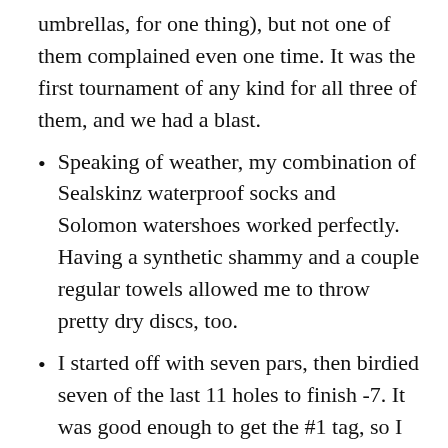umbrellas, for one thing), but not one of them complained even one time. It was the first tournament of any kind for all three of them, and we had a blast.
Speaking of weather, my combination of Sealskinz waterproof socks and Solomon watershoes worked perfectly. Having a synthetic shammy and a couple regular towels allowed me to throw pretty dry discs, too.
I started off with seven pars, then birdied seven of the last 11 holes to finish -7. It was good enough to get the #1 tag, so I guess I won the tournament, and that means that I've played in the inaugural tournaments of two courses (Black Mouse is the other) and won them both. What I remember most about the Black Mouse event, though, is the 20-minute walk with Steady Ed from the parking lot tournament central